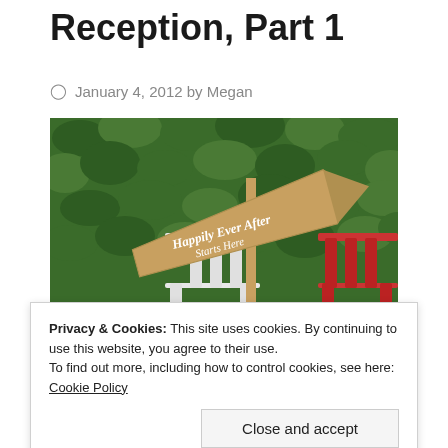Reception, Part 1
January 4, 2012 by Megan
[Figure (photo): A wooden arrow sign reading 'Happily Ever After Starts Here' on a pole, with a white chair on the left and a red chair on the right, in front of a lush green hedge background.]
Privacy & Cookies: This site uses cookies. By continuing to use this website, you agree to their use.
To find out more, including how to control cookies, see here: Cookie Policy
Close and accept